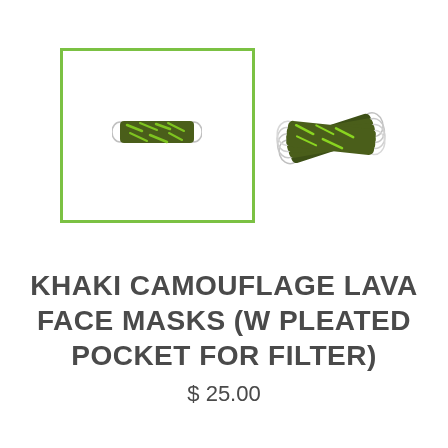[Figure (photo): Two views of khaki camouflage face masks: one single mask shown inside a green-bordered square frame (product image box), and a stack of multiple masks shown to the right without a frame.]
KHAKI CAMOUFLAGE LAVA FACE MASKS (W PLEATED POCKET FOR FILTER)
$ 25.00